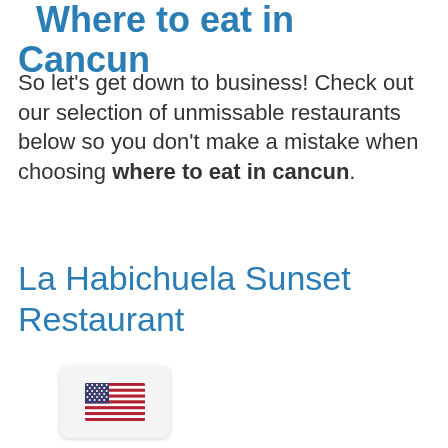Where to eat in Cancun
So let's get down to business! Check out our selection of unmissable restaurants below so you don't make a mistake when choosing where to eat in cancun.
La Habichuela Sunset Restaurant
[Figure (illustration): US flag emoji/icon inside a rounded rectangle widget at the bottom left of the page]